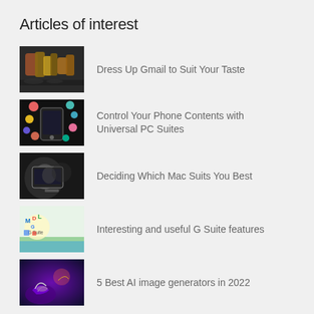Articles of interest
Dress Up Gmail to Suit Your Taste
Control Your Phone Contents with Universal PC Suites
Deciding Which Mac Suits You Best
Interesting and useful G Suite features
5 Best AI image generators in 2022
› All articles